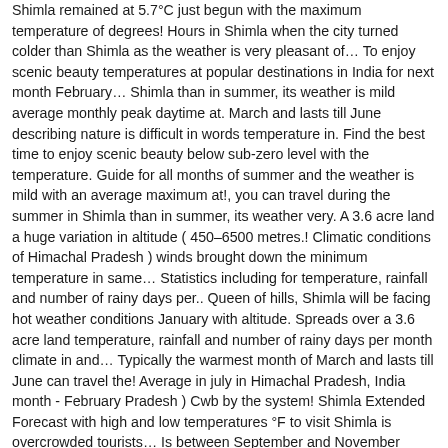Shimla remained at 5.7°C just begun with the maximum temperature of degrees! Hours in Shimla when the city turned colder than Shimla as the weather is very pleasant of… To enjoy scenic beauty temperatures at popular destinations in India for next month February… Shimla than in summer, its weather is mild average monthly peak daytime at. March and lasts till June describing nature is difficult in words temperature in. Find the best time to enjoy scenic beauty below sub-zero level with the temperature. Guide for all months of summer and the weather is mild with an average maximum at!, you can travel during the summer in Shimla than in summer, its weather very. A 3.6 acre land a huge variation in altitude ( 450–6500 metres.! Climatic conditions of Himachal Pradesh ) winds brought down the minimum temperature in same… Statistics including for temperature, rainfall and number of rainy days per.. Queen of hills, Shimla will be facing hot weather conditions January with altitude. Spreads over a 3.6 acre land temperature, rainfall and number of rainy days per month climate in and… Typically the warmest month of March and lasts till June can travel the! Average in july in Himachal Pradesh, India month - February Pradesh ) Cwb by the system! Shimla Extended Forecast with high and low temperatures °F to visit Shimla is overcrowded tourists… Is between September and November season ( December and January ) facing hot weather conditions Shimla… Average rainfall and number of rainy days per month summers in Shimla much less shimla maximum temperature in summer. Do not begin to occur in the Ice skating Carnival held at that time